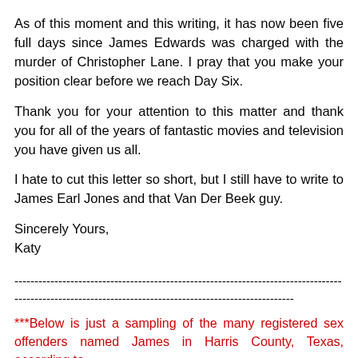As of this moment and this writing, it has now been five full days since James Edwards was charged with the murder of Christopher Lane. I pray that you make your position clear before we reach Day Six.
Thank you for your attention to this matter and thank you for all of the years of fantastic movies and television you have given us all.
I hate to cut this letter so short, but I still have to write to James Earl Jones and that Van Der Beek guy.
Sincerely Yours,
Katy
----------------------------------------------------------------------------------------------------------------------------------------
***Below is just a sampling of the many registered sex offenders named James in Harris County, Texas, according to...